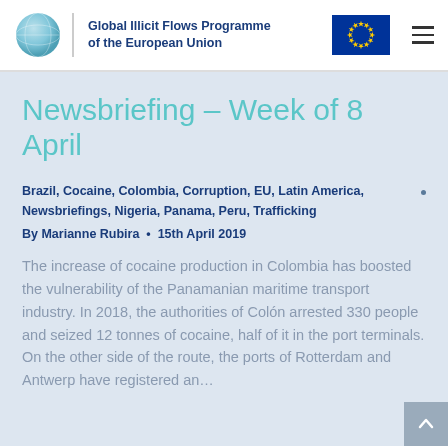Global Illicit Flows Programme of the European Union
Newsbriefing – Week of 8 April
Brazil, Cocaine, Colombia, Corruption, EU, Latin America, Newsbriefings, Nigeria, Panama, Peru, Trafficking
By Marianne Rubira • 15th April 2019
The increase of cocaine production in Colombia has boosted the vulnerability of the Panamanian maritime transport industry. In 2018, the authorities of Colón arrested 330 people and seized 12 tonnes of cocaine, half of it in the port terminals. On the other side of the route, the ports of Rotterdam and Antwerp have registered an…